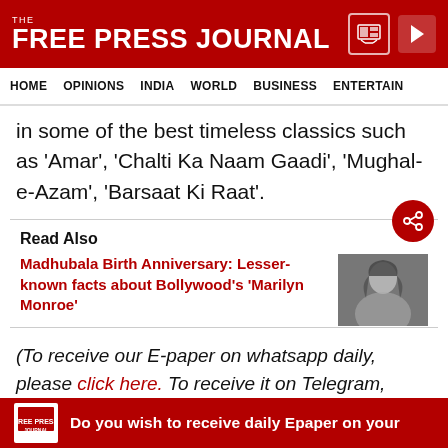THE FREE PRESS JOURNAL
HOME  OPINIONS  INDIA  WORLD  BUSINESS  ENTERTAIN
in some of the best timeless classics such as 'Amar', 'Chalti Ka Naam Gaadi', 'Mughal-e-Azam', 'Barsaat Ki Raat'.
Read Also
Madhubala Birth Anniversary: Lesser-known facts about Bollywood's 'Marilyn Monroe'
[Figure (photo): Portrait photo of Madhubala]
(To receive our E-paper on whatsapp daily, please click here. To receive it on Telegram, please click here. We permit sharing of the paper's PDF on
ADVERTISEMENT
Do you wish to receive daily Epaper on your